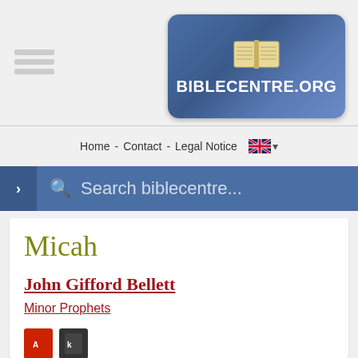[Figure (logo): BibleCentre.org logo with open book icon on blue gradient background]
Home - Contact - Legal Notice
Search biblecentre...
Micah
John Gifford Bellett
Minor Prophets